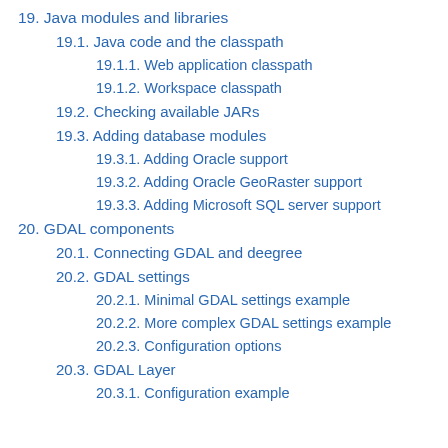19. Java modules and libraries
19.1. Java code and the classpath
19.1.1. Web application classpath
19.1.2. Workspace classpath
19.2. Checking available JARs
19.3. Adding database modules
19.3.1. Adding Oracle support
19.3.2. Adding Oracle GeoRaster support
19.3.3. Adding Microsoft SQL server support
20. GDAL components
20.1. Connecting GDAL and deegree
20.2. GDAL settings
20.2.1. Minimal GDAL settings example
20.2.2. More complex GDAL settings example
20.2.3. Configuration options
20.3. GDAL Layer
20.3.1. Configuration example